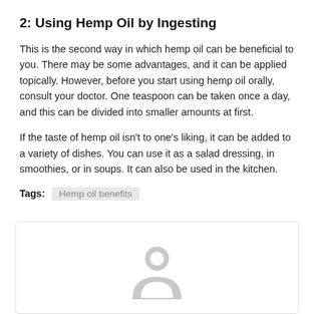2: Using Hemp Oil by Ingesting
This is the second way in which hemp oil can be beneficial to you. There may be some advantages, and it can be applied topically. However, before you start using hemp oil orally, consult your doctor. One teaspoon can be taken once a day, and this can be divided into smaller amounts at first.
If the taste of hemp oil isn't to one's liking, it can be added to a variety of dishes. You can use it as a salad dressing, in smoothies, or in soups. It can also be used in the kitchen.
Tags: Hemp oil benefits
[Figure (illustration): A gray placeholder avatar icon showing a person silhouette inside a rounded rectangle comment box]